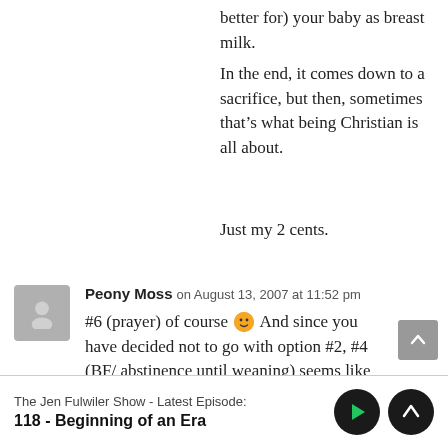better for) your baby as breast milk.
In the end, it comes down to a sacrifice, but then, sometimes that’s what being Christian is all about.
Just my 2 cents.
Peony Moss on August 13, 2007 at 11:52 pm
#6 (prayer) of course 🙂 And since you have decided not to go with option #2, #4 (BF/ abstinence until weaning) seems like
The Jen Fulwiler Show - Latest Episode:
118 - Beginning of an Era